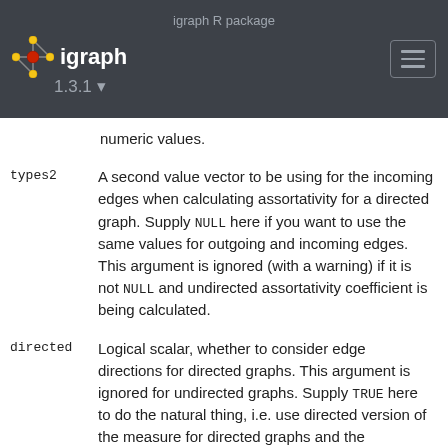igraph R package
igraph 1.3.1
numeric values.
types2   A second value vector to be using for the incoming edges when calculating assortativity for a directed graph. Supply NULL here if you want to use the same values for outgoing and incoming edges. This argument is ignored (with a warning) if it is not NULL and undirected assortativity coefficient is being calculated.
directed  Logical scalar, whether to consider edge directions for directed graphs. This argument is ignored for undirected graphs. Supply TRUE here to do the natural thing, i.e. use directed version of the measure for directed graphs and the undirected version for undirected graphs